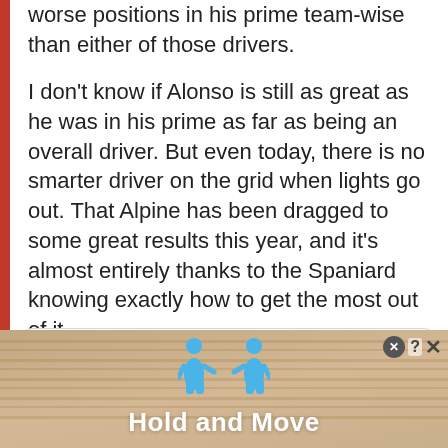worse positions in his prime team-wise than either of those drivers.
I don't know if Alonso is still as great as he was in his prime as far as being an overall driver. But even today, there is no smarter driver on the grid when lights go out. That Alpine has been dragged to some great results this year, and it's almost entirely thanks to the Spaniard knowing exactly how to get the most out of it.
[Figure (screenshot): Embedded tweet card from Formula 1 (@F1) with Follow link and Twitter bird icon]